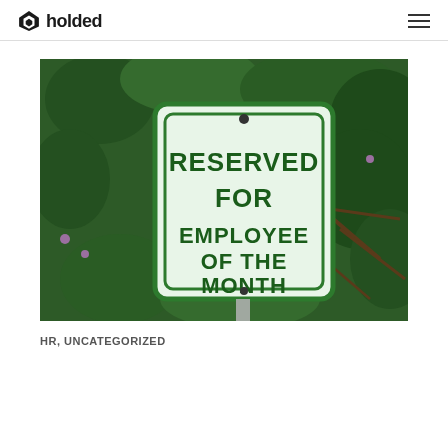holded
[Figure (photo): A parking sign reading 'RESERVED FOR EMPLOYEE OF THE MONTH' in green text on a white background, mounted on a metal pole with green foliage and branches in the background.]
HR, UNCATEGORIZED